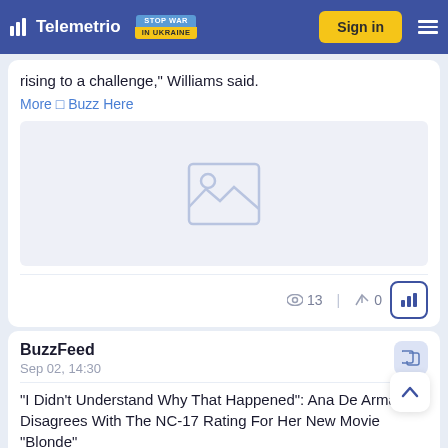Telemetrio | STOP WAR IN UKRAINE | Sign in
rising to a challenge," Williams said.
More □ Buzz Here
[Figure (photo): Image placeholder with mountain/landscape icon]
👁 13 | ↗ 0
BuzzFeed
Sep 02, 14:30
"I Didn't Understand Why That Happened": Ana De Armas Disagrees With The NC-17 Rating For Her New Movie "Blonde"